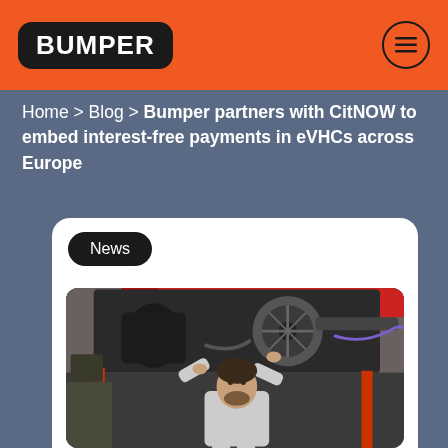BUMPER
Home > Blog > Bumper partners with CitNOW to embed interest-free payments in eVHCs across Europe
[Figure (photo): A mechanic working underneath a raised car on a lift, looking up at the undercarriage, wearing a grey uniform, in an auto repair garage. The car is red and the undercarriage components including brake disc and exhaust are visible.]
News